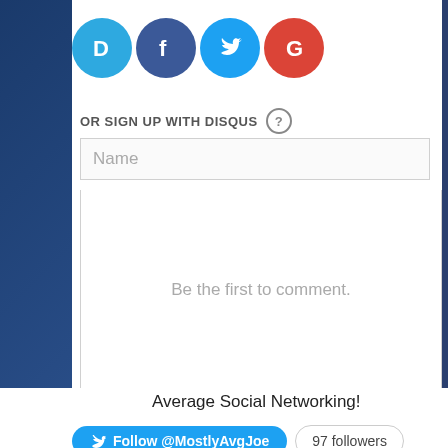[Figure (screenshot): Disqus social login icons: D (teal), F (blue, Facebook), Twitter bird (light blue), G (red, Google)]
OR SIGN UP WITH DISQUS ?
Name
Be the first to comment.
Subscribe  Do Not Sell My Data   DISQUS
Average Social Networking!
Follow @MostlyAvgJoe   97 followers